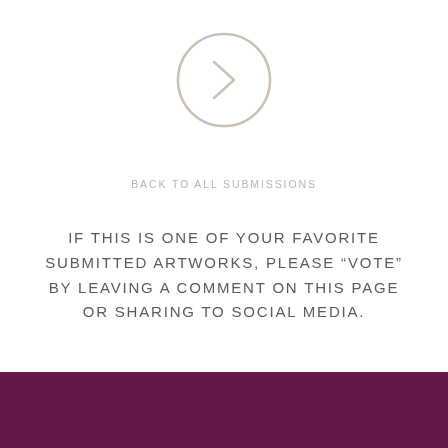[Figure (illustration): A circle with a right-pointing chevron/arrow inside, rendered in light beige/tan color.]
BACK TO ALL SUBMISSIONS
IF THIS IS ONE OF YOUR FAVORITE SUBMITTED ARTWORKS, PLEASE “VOTE” BY LEAVING A COMMENT ON THIS PAGE OR SHARING TO SOCIAL MEDIA.